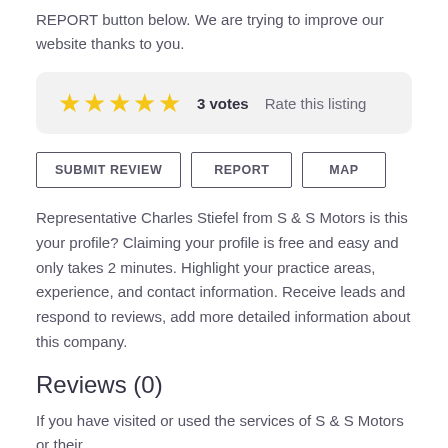REPORT button below. We are trying to improve our website thanks to you.
[Figure (other): Star rating widget showing 5 yellow stars, '3 votes', and 'Rate this listing' label on a light grey background]
SUBMIT REVIEW   REPORT   MAP
Representative Charles Stiefel from S & S Motors is this your profile? Claiming your profile is free and easy and only takes 2 minutes. Highlight your practice areas, experience, and contact information. Receive leads and respond to reviews, add more detailed information about this company.
Reviews (0)
If you have visited or used the services of S & S Motors or their